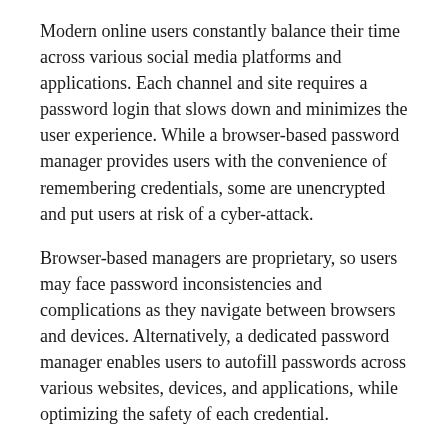Modern online users constantly balance their time across various social media platforms and applications. Each channel and site requires a password login that slows down and minimizes the user experience. While a browser-based password manager provides users with the convenience of remembering credentials, some are unencrypted and put users at risk of a cyber-attack.
Browser-based managers are proprietary, so users may face password inconsistencies and complications as they navigate between browsers and devices. Alternatively, a dedicated password manager enables users to autofill passwords across various websites, devices, and applications, while optimizing the safety of each credential.
TeamPassword: One Password for All Uses
TeamPassword provides an advanced password manager that enables users to record and retrieve multiple login